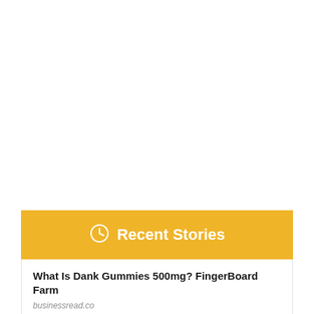Recent Stories
What Is Dank Gummies 500mg? FingerBoard Farm
businessread.co